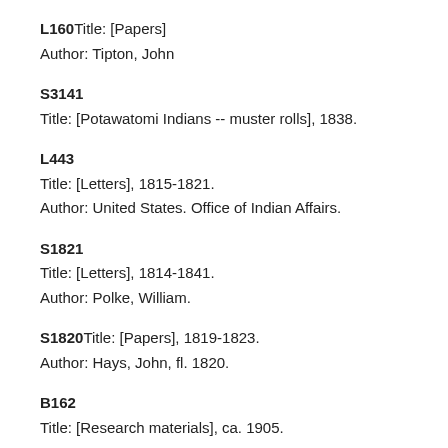L160 Title: [Papers]
Author: Tipton, John
S3141
Title: [Potawatomi Indians -- muster rolls], 1838.
L443
Title: [Letters], 1815-1821.
Author: United States. Office of Indian Affairs.
S1821
Title: [Letters], 1814-1841.
Author: Polke, William.
S1820 Title: [Papers], 1819-1823.
Author: Hays, John, fl. 1820.
B162
Title: [Research materials], ca. 1905.